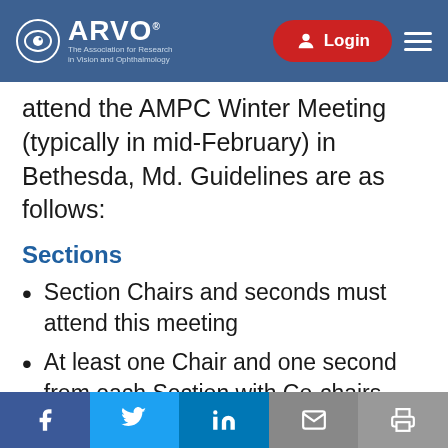ARVO — The Association for Research in Vision and Ophthalmology | Login
attend the AMPC Winter Meeting (typically in mid-February) in Bethesda, Md. Guidelines are as follows:
Sections
Section Chairs and seconds must attend this meeting
At least one Chair and one second from each Section with Co-chairs must attend this meeting
Cross-sectional Groups:
The Chair of each Cross-sectional
f  Twitter  in  Email  Print